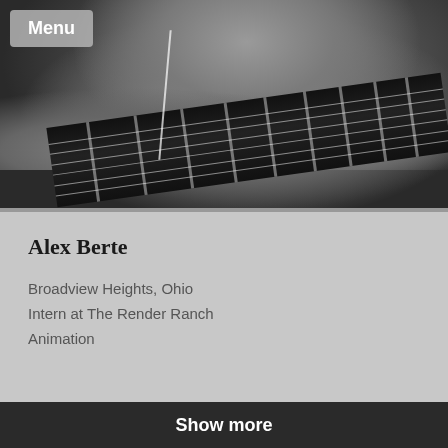[Figure (photo): Black and white photograph of a young man wearing a Hollister hoodie and earphones, playing an electric guitar. His hands are on the guitar fretboard. A 'Menu' overlay badge appears in the top-left corner.]
Alex Berte
Broadview Heights, Ohio
Intern at The Render Ranch
Animation
Show more